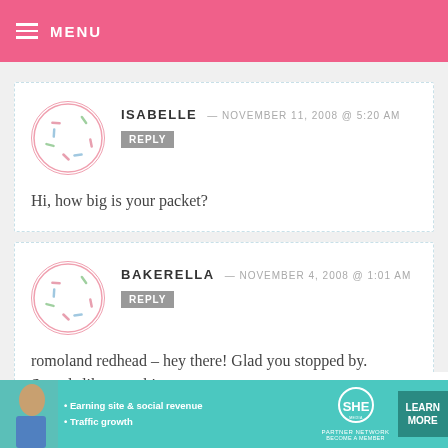MENU
ISABELLE — NOVEMBER 11, 2008 @ 5:20 AM
REPLY
Hi, how big is your packet?
BAKERELLA — NOVEMBER 4, 2008 @ 1:01 AM
REPLY
romoland redhead – hey there! Glad you stopped by. Sounds like your bites came out great.
[Figure (infographic): SHE Partner Network advertisement banner with woman photo, bullet points about earning site & social revenue and traffic growth, SHE logo, and Learn More button]